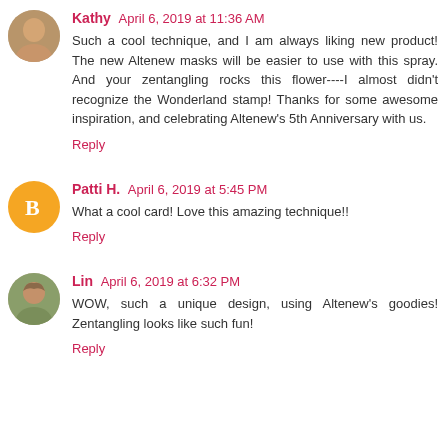[Figure (photo): Avatar photo of Kathy, woman with short hair]
Kathy April 6, 2019 at 11:36 AM
Such a cool technique, and I am always liking new product! The new Altenew masks will be easier to use with this spray. And your zentangling rocks this flower----I almost didn't recognize the Wonderland stamp! Thanks for some awesome inspiration, and celebrating Altenew's 5th Anniversary with us.
Reply
[Figure (logo): Blogger orange circle icon with white B]
Patti H. April 6, 2019 at 5:45 PM
What a cool card! Love this amazing technique!!
Reply
[Figure (photo): Avatar photo of Lin, woman with curly hair]
Lin April 6, 2019 at 6:32 PM
WOW, such a unique design, using Altenew's goodies! Zentangling looks like such fun!
Reply